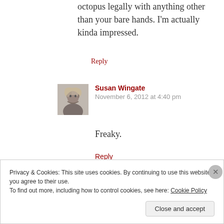octopus legally with anything other than your bare hands. I'm actually kinda impressed.
Reply
[Figure (photo): Black and white portrait photo of Susan Wingate, a woman with curly hair looking downward]
Susan Wingate
November 6, 2012 at 4:40 pm
Freaky.
Reply
Privacy & Cookies: This site uses cookies. By continuing to use this website, you agree to their use.
To find out more, including how to control cookies, see here: Cookie Policy
Close and accept